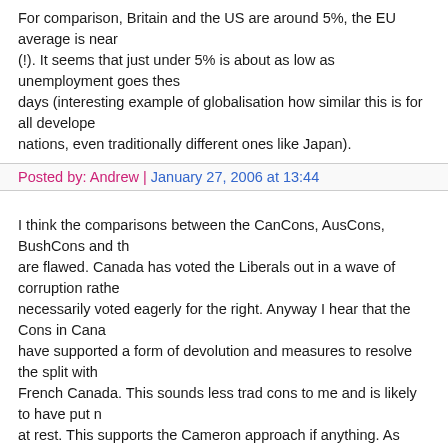For comparison, Britain and the US are around 5%, the EU average is near (!). It seems that just under 5% is about as low as unemployment goes these days (interesting example of globalisation how similar this is for all developed nations, even traditionally different ones like Japan).
Posted by: Andrew | January 27, 2006 at 13:44
I think the comparisons between the CanCons, AusCons, BushCons and th are flawed. Canada has voted the Liberals out in a wave of corruption rathe necessarily voted eagerly for the right. Anyway I hear that the Cons in Cana have supported a form of devolution and measures to resolve the split with French Canada. This sounds less trad cons to me and is likely to have put r at rest. This supports the Cameron approach if anything. As regards US Co while no expert on this, their form of Conservativism has traditionally been r broad in its appeal to different socio-economic groups and less divisive so a Bush position should be seen against this background situation. Don't know about AusCons but as I say the comparisons don't prove much.
Posted by: Matt Wright | January 29, 2006 at 23:46
The comments to this entry are closed.